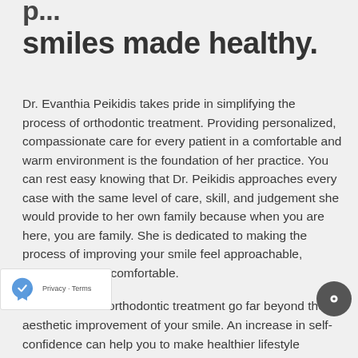smiles made healthy.
Dr. Evanthia Peikidis takes pride in simplifying the process of orthodontic treatment. Providing personalized, compassionate care for every patient in a comfortable and warm environment is the foundation of her practice. You can rest easy knowing that Dr. Peikidis approaches every case with the same level of care, skill, and judgement she would provide to her own family because when you are here, you are family. She is dedicated to making the process of improving your smile feel approachable, obtainable, and comfortable.
The benefits of orthodontic treatment go far beyond the aesthetic improvement of your smile. An increase in self-confidence can help you to make healthier lifestyle choices and the correction of tooth and jaw alignment issues can improve your...